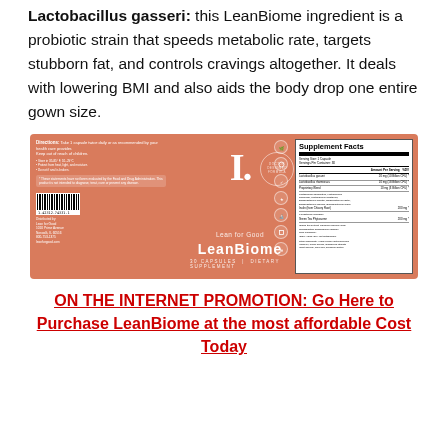Lactobacillus gasseri: this LeanBiome ingredient is a probiotic strain that speeds metabolic rate, targets stubborn fat, and controls cravings altogether. It deals with lowering BMI and also aids the body drop one entire gown size.
[Figure (photo): LeanBiome supplement product label on a salmon/terracotta colored background, showing the brand name 'Lean for Good', product name 'LeanBiome', capsule count, dietary supplement designation, supplement facts panel, icons, barcode, and distributor information.]
ON THE INTERNET PROMOTION: Go Here to Purchase LeanBiome at the most affordable Cost Today